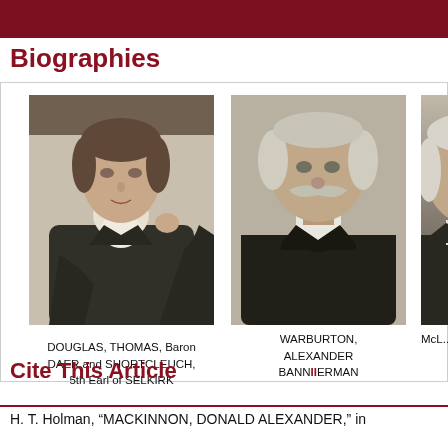Biographies
[Figure (photo): Black and white portrait photograph of DOUGLAS, THOMAS, Baron DAER and SHORTCLEUCH, 5th Earl of SELKIRK]
DOUGLAS, THOMAS, Baron DAER and SHORTCLEUCH, 5th Earl of SELKIRK
[Figure (photo): Black and white portrait photograph of WARBURTON, ALEXANDER BANNERMAN]
WARBURTON, ALEXANDER BANNERMAN
[Figure (photo): Black and white portrait photograph, partially cropped, of McL... (name truncated)]
McL...
Cite This Article
H. T. Holman, “MACKINNON, DONALD ALEXANDER,” in